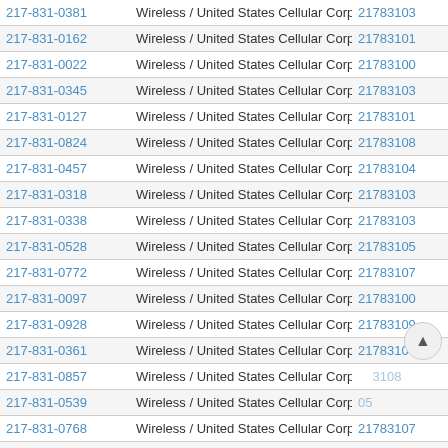| Phone | Carrier | Code |
| --- | --- | --- |
| 217-831-0381 | Wireless / United States Cellular Corp. - Illinois | 21783103 |
| 217-831-0162 | Wireless / United States Cellular Corp. - Illinois | 21783101 |
| 217-831-0022 | Wireless / United States Cellular Corp. - Illinois | 21783100 |
| 217-831-0345 | Wireless / United States Cellular Corp. - Illinois | 21783103 |
| 217-831-0127 | Wireless / United States Cellular Corp. - Illinois | 21783101 |
| 217-831-0824 | Wireless / United States Cellular Corp. - Illinois | 21783108 |
| 217-831-0457 | Wireless / United States Cellular Corp. - Illinois | 21783104 |
| 217-831-0318 | Wireless / United States Cellular Corp. - Illinois | 21783103 |
| 217-831-0338 | Wireless / United States Cellular Corp. - Illinois | 21783103 |
| 217-831-0528 | Wireless / United States Cellular Corp. - Illinois | 21783105 |
| 217-831-0772 | Wireless / United States Cellular Corp. - Illinois | 21783107 |
| 217-831-0097 | Wireless / United States Cellular Corp. - Illinois | 21783100 |
| 217-831-0928 | Wireless / United States Cellular Corp. - Illinois | 21783109 |
| 217-831-0361 | Wireless / United States Cellular Corp. - Illinois | 21783103 |
| 217-831-0857 | Wireless / United States Cellular Corp. - Illinois | 21783108 |
| 217-831-0539 | Wireless / United States Cellular Corp. - Illinois | 21783105 |
| 217-831-0768 | Wireless / United States Cellular Corp. - Illinois | 21783107 |
| 217-831-0196 | Wireless / United States Cellular Corp. - Illinois | 21783101 |
| 217-831-0412 | Wireless / United States Cellular Corp. - Illinois | 21783104 |